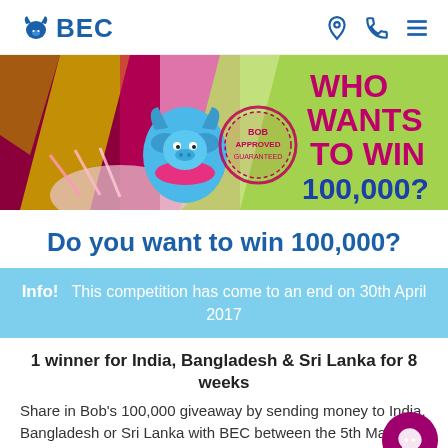BEC
[Figure (illustration): Promotional banner with blue bull mascot holding money fan, stamp reading BOB APPROVED, text 'WHO WANTS TO WIN 100,000?' in pink and dark blue on colorful background]
Do you want to win 100,000?
Info! This competition has come to an end on 30th April 2017
1 winner for India, Bangladesh & Sri Lanka for 8 weeks
Share in Bob's 100,000 giveaway by sending money to India, Bangladesh or Sri Lanka with BEC between the 5th March 2017 and the 29th April 2017 and you could be in